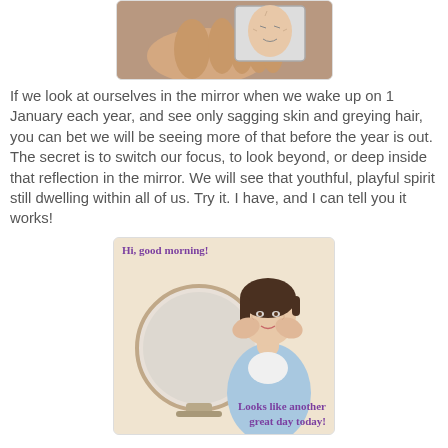[Figure (photo): Close-up photo of a hand holding a small mirror reflecting a face with aged skin]
If we look at ourselves in the mirror when we wake up on 1 January each year, and see only sagging skin and greying hair, you can bet we will be seeing more of that before the year is out. The secret is to switch our focus, to look beyond, or deep inside that reflection in the mirror. We will see that youthful, playful spirit still dwelling within all of us. Try it. I have, and I can tell you it works!
[Figure (photo): Meme image of a middle-aged woman looking at herself in a round mirror touching her face, with text 'Hi, good morning!' at top and 'Looks like another great day today!' at bottom, in purple handwritten font]